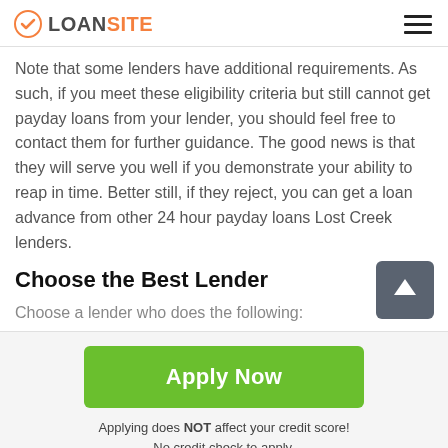LOANSITE
Note that some lenders have additional requirements. As such, if you meet these eligibility criteria but still cannot get payday loans from your lender, you should feel free to contact them for further guidance. The good news is that they will serve you well if you demonstrate your ability to reap in time. Better still, if they reject, you can get a loan advance from other 24 hour payday loans Lost Creek lenders.
Choose the Best Lender
Choose a lender who does the following:
Apply Now
Applying does NOT affect your credit score!
No credit check to apply.